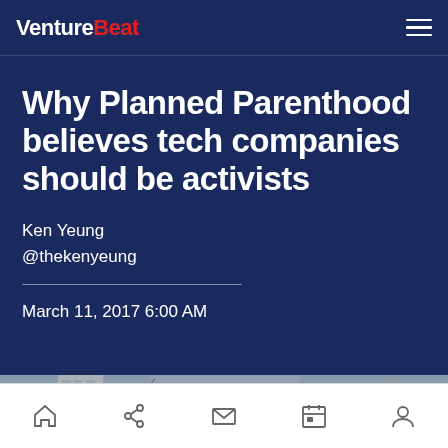VentureBeat
Why Planned Parenthood believes tech companies should be activists
Ken Yeung
@thekenyeung
March 11, 2017 6:00 AM
[Figure (photo): Grayscale/muted photo of urban buildings and street scene]
Navigation bar with home, share, mail, calendar, and profile icons